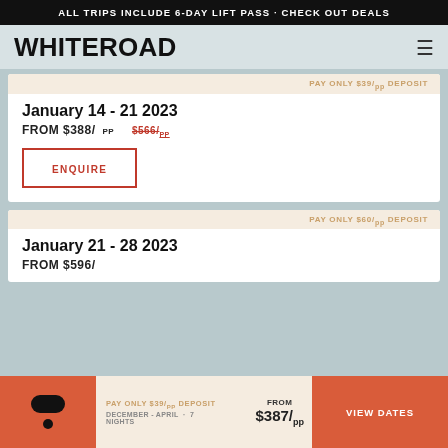ALL TRIPS INCLUDE 6-DAY LIFT PASS · CHECK OUT DEALS
[Figure (logo): WHITEROAD logo in bold black text with hamburger menu icon]
PAY ONLY $39/pp DEPOSIT
January 14 - 21 2023
FROM $388/pp $566/pp
ENQUIRE
PAY ONLY $60/pp DEPOSIT
January 21 - 28 2023
FROM $596/
PAY ONLY $39/pp DEPOSIT
DECEMBER - APRIL · 7 NIGHTS
FROM $387/pp
VIEW DATES